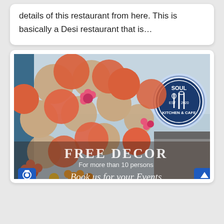Lahore menu with prices can check the complete details of this restaurant from here. This is basically a Desi restaurant that is…
[Figure (photo): Photo of a restaurant interior showing a balloon garland arch with orange, coral, and beige balloons and flower decorations. A circular illuminated sign reads 'SOUL KITCHEN & CAFE EST 2020' with fork, knife and spoon icons. Text overlay reads 'FREE DECOR For more than 10 persons' and 'Book us for your Events'. A blue camera button is in the bottom left and a blue up-arrow button in the bottom right.]